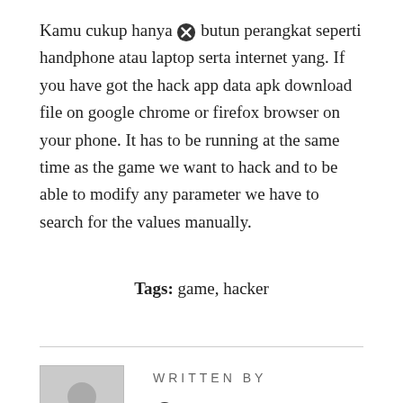Kamu cukup hanya butun perangkat seperti handphone atau laptop serta internet yang. If you have got the hack app data apk download file on google chrome or firefox browser on your phone. It has to be running at the same time as the game we want to hack and to be able to modify any parameter we have to search for the values manually.
Tags: game, hacker
WRITTEN BY
[Figure (illustration): Grey placeholder avatar image with a person silhouette icon, bordered box]